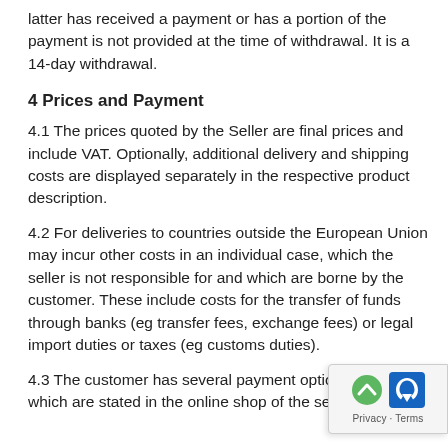latter has received a payment or has a portion of the payment is not provided at the time of withdrawal. It is a 14-day withdrawal.
4 Prices and Payment
4.1 The prices quoted by the Seller are final prices and include VAT. Optionally, additional delivery and shipping costs are displayed separately in the respective product description.
4.2 For deliveries to countries outside the European Union may incur other costs in an individual case, which the seller is not responsible for and which are borne by the customer. These include costs for the transfer of funds through banks (eg transfer fees, exchange fees) or legal import duties or taxes (eg customs duties).
4.3 The customer has several payment options available, which are stated in the online shop of the seller.